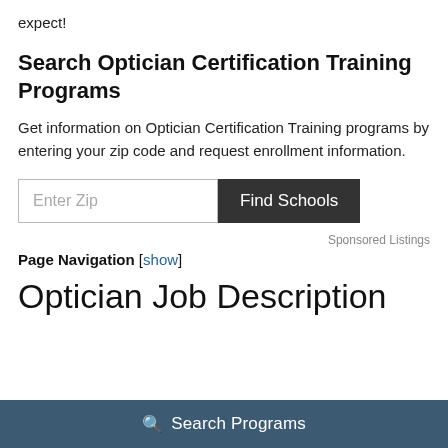expect!
Search Optician Certification Training Programs
Get information on Optician Certification Training programs by entering your zip code and request enrollment information.
Sponsored Listings
Page Navigation [show]
Optician Job Description
Search Programs